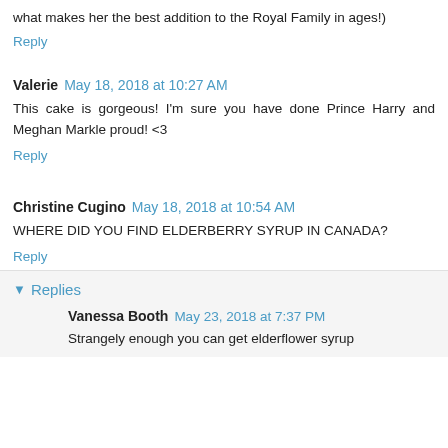what makes her the best addition to the Royal Family in ages!)
Reply
Valerie  May 18, 2018 at 10:27 AM
This cake is gorgeous! I'm sure you have done Prince Harry and Meghan Markle proud! <3
Reply
Christine Cugino  May 18, 2018 at 10:54 AM
WHERE DID YOU FIND ELDERBERRY SYRUP IN CANADA?
Reply
Replies
Vanessa Booth  May 23, 2018 at 7:37 PM
Strangely enough you can get elderflower syrup